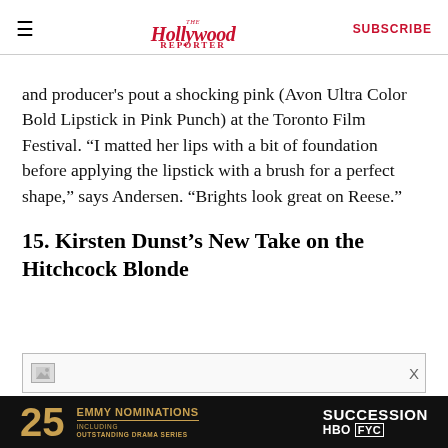The Hollywood Reporter | SUBSCRIBE
and producer's pout a shocking pink (Avon Ultra Color Bold Lipstick in Pink Punch) at the Toronto Film Festival. “I matted her lips with a bit of foundation before applying the lipstick with a brush for a perfect shape,” says Andersen. “Brights look great on Reese.”
15. Kirsten Dunst’s New Take on the Hitchcock Blonde
[Figure (screenshot): Broken image placeholder with close button]
[Figure (screenshot): Advertisement banner: 25 Emmy Nominations including Outstanding Drama Series - Succession HBO FYC]